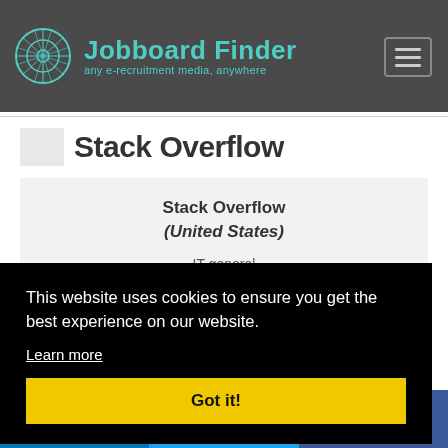Jobboard Finder — any e-recruitment media, anywhere
[Figure (screenshot): Jobboard Finder website screenshot showing Stack Overflow listing with cookie consent banner and social media share bar]
Stack Overflow (United States)
IT general
This website uses cookies to ensure you get the best experience on our website.
Learn more
Got it!